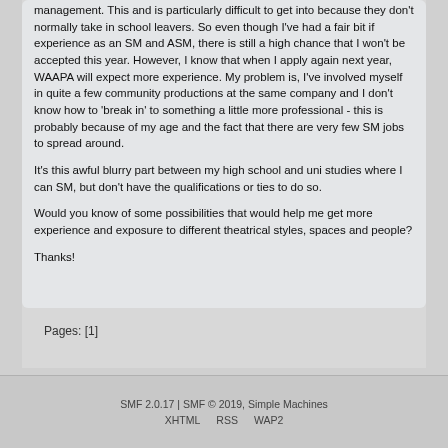management. This and is particularly difficult to get into because they don't normally take in school leavers. So even though I've had a fair bit if experience as an SM and ASM, there is still a high chance that I won't be accepted this year. However, I know that when I apply again next year, WAAPA will expect more experience. My problem is, I've involved myself in quite a few community productions at the same company and I don't know how to 'break in' to something a little more professional - this is probably because of my age and the fact that there are very few SM jobs to spread around.

It's this awful blurry part between my high school and uni studies where I can SM, but don't have the qualifications or ties to do so.

Would you know of some possibilities that would help me get more experience and exposure to different theatrical styles, spaces and people?

Thanks!
Pages: [1]
SMF 2.0.17 | SMF © 2019, Simple Machines   XHTML   RSS   WAP2